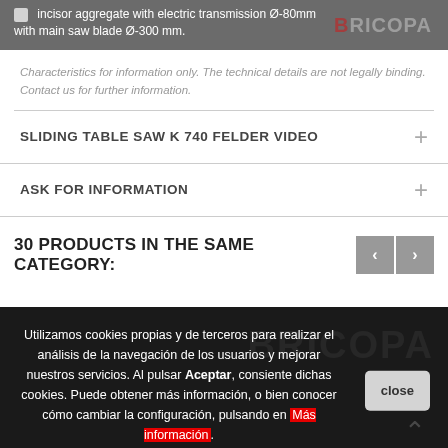Incisor aggregate with electric transmission Ø-80mm with main saw blade Ø-300 mm.
Characteristics for information only. The technical details are not legally binding. Contact us for further information.
SLIDING TABLE SAW K 740 FELDER VIDEO
ASK FOR INFORMATION
30 PRODUCTS IN THE SAME CATEGORY:
Utilizamos cookies propias y de terceros para realizar el análisis de la navegación de los usuarios y mejorar nuestros servicios. Al pulsar Aceptar, consiente dichas cookies. Puede obtener más información, o bien conocer cómo cambiar la configuración, pulsando en Más información.